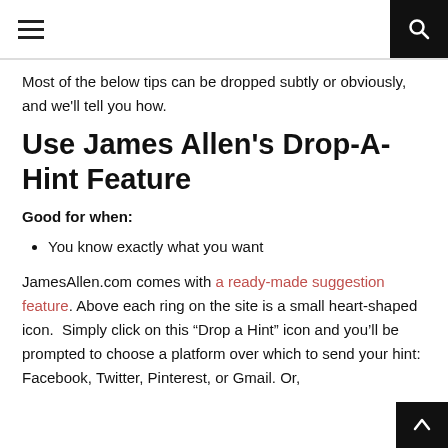Navigation header with hamburger menu and search icon
Most of the below tips can be dropped subtly or obviously, and we'll tell you how.
Use James Allen’s Drop-A-Hint Feature
Good for when:
You know exactly what you want
JamesAllen.com comes with a ready-made suggestion feature. Above each ring on the site is a small heart-shaped icon.  Simply click on this “Drop a Hint” icon and you’ll be prompted to choose a platform over which to send your hint: Facebook, Twitter, Pinterest, or Gmail. Or,